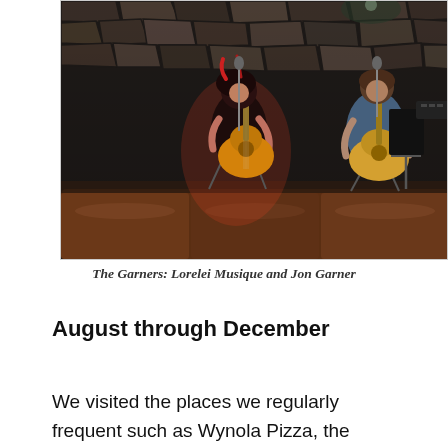[Figure (photo): Two musicians performing in a dimly lit venue with a stone wall background. A woman with red highlights in her hair plays an acoustic guitar while seated; a man plays acoustic guitar and sings into a microphone on the right. Brown leather seating is visible in the foreground.]
The Garners: Lorelei Musique and Jon Garner
August through December
We visited the places we regularly frequent such as Wynola Pizza, the Alano Club in South Park, Riviera Supper Club, and Rebecca's Coffee to see